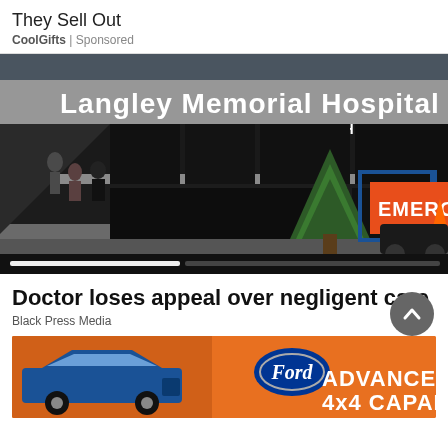They Sell Out
CoolGifts | Sponsored
[Figure (photo): Exterior of Langley Memorial Hospital (Fraser Health) with an orange Emergency direction sign and a fenced-off area near the entrance. Several people visible near the entrance. A large evergreen tree in front.]
Doctor loses appeal over negligent care
Black Press Media
[Figure (photo): Ford advertisement showing a blue Ford Bronco Sport SUV with Ford logo and text: ADVANCED 4x4 CAPABILITY on an orange background.]